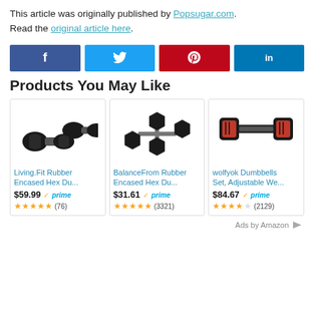This article was originally published by Popsugar.com. Read the original article here.
[Figure (infographic): Social share buttons: Facebook (f), Twitter (bird), Pinterest (p), LinkedIn (in)]
Products You May Like
[Figure (infographic): Three Amazon product cards for dumbbells: 1) Living.Fit Rubber Encased Hex Du... $59.99 prime, 4.5 stars (76 reviews). 2) BalanceFrom Rubber Encased Hex Du... $31.61 prime, 5 stars (3321 reviews). 3) wolfyok Dumbbells Set, Adjustable We... $84.67 prime, 4 stars (2129 reviews). Ads by Amazon logo.]